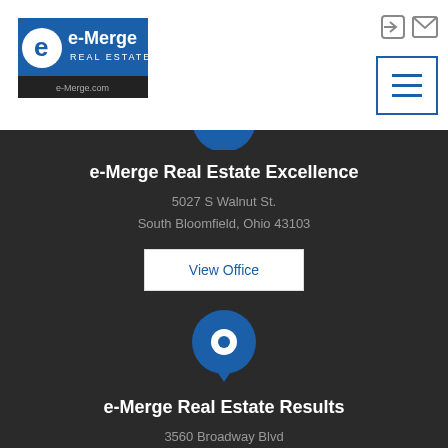[Figure (logo): e-Merge Real Estate logo with blue background, white 'e' and 'e-Merge' text, 'REAL ESTATE' subtitle, and 'e-Merge.com' at bottom]
[Figure (illustration): Login/user icon (arrow pointing into door) in gray]
[Figure (illustration): Envelope/mail icon in gray]
[Figure (illustration): Hamburger menu button with three horizontal lines in a blue-bordered square]
[Figure (illustration): Blue circle with white map pin/location marker icon - top, partially cropped]
e-Merge Real Estate Excellence
5027 S Walnut St.
South Bloomfield, Ohio 43103
View Office
[Figure (illustration): Blue circle with white map pin/location marker icon - second office]
e-Merge Real Estate Results
3560 Broadway Blvd